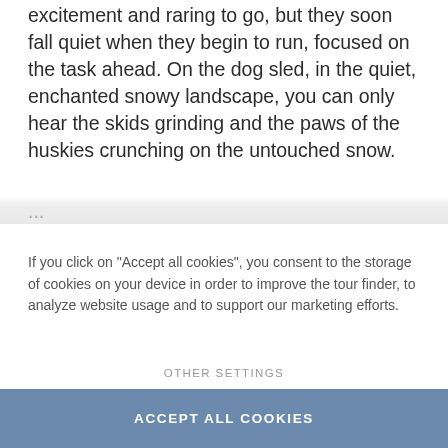excitement and raring to go, but they soon fall quiet when they begin to run, focused on the task ahead. On the dog sled, in the quiet, enchanted snowy landscape, you can only hear the skids grinding and the paws of the huskies crunching on the untouched snow.
If you click on "Accept all cookies", you consent to the storage of cookies on your device in order to improve the tour finder, to analyze website usage and to support our marketing efforts.
OTHER SETTINGS
ACCEPT ALL COOKIES